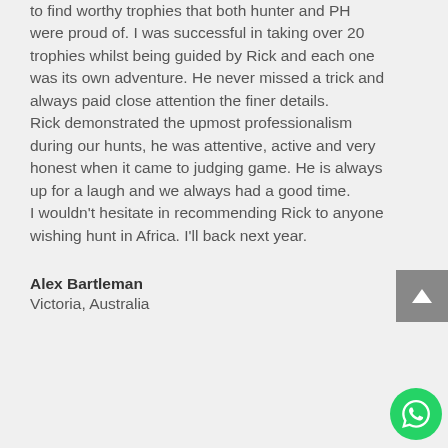to find worthy trophies that both hunter and PH were proud of. I was successful in taking over 20 trophies whilst being guided by Rick and each one was its own adventure. He never missed a trick and always paid close attention the finer details.
Rick demonstrated the upmost professionalism during our hunts, he was attentive, active and very honest when it came to judging game. He is always up for a laugh and we always had a good time.
I wouldn't hesitate in recommending Rick to anyone wishing hunt in Africa. I'll back next year.
Alex Bartleman
Victoria, Australia